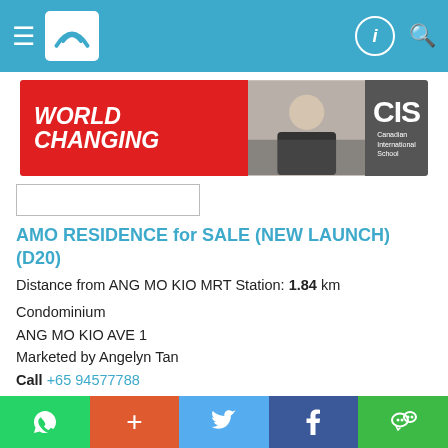Navigation bar with logo
[Figure (illustration): Advertisement banner for Canadian International School showing 'WORLD CHANGING' text in red and white, a photo of a masked student, and CIS logo on dark background]
AMO RESIDENCE for SALE (NEW LAUNCH) (D20)
Distance from ANG MO KIO MRT Station: 1.84 km
Condominium
ANG MO KIO AVE 1
Marketed by Angelyn Tan
Call +65 94577788
Listed on 24 Aug 22
Property Code: 6389815
S$ 3,378,000
S$ 2,290.17 psf (built-in)
1,475 sqft / 137.03 sqm (built-in)
5 0
WhatsApp + Twitter Facebook WeChat social sharing bar